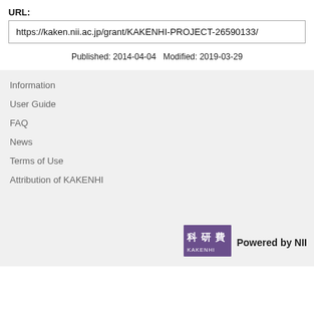URL:
https://kaken.nii.ac.jp/grant/KAKENHI-PROJECT-26590133/
Published: 2014-04-04   Modified: 2019-03-29
Information
User Guide
FAQ
News
Terms of Use
Attribution of KAKENHI
[Figure (logo): KAKENHI logo with Japanese characters 科研費 and text KAKENHI in purple box]
Powered by NII